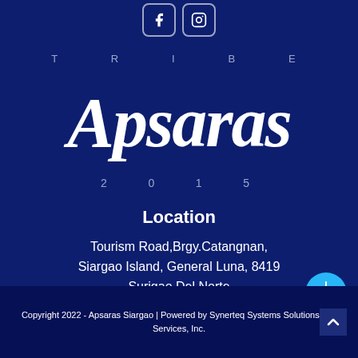[Figure (logo): Tribe Apsaras 2015 logo on dark blue background with stylized brush lettering]
Location
Tourism Road,Brgy.Catangnan, Siargao Island, General Luna, 8419 Surigao Del Norte
Copyright 2022 - Apsaras Siargao | Powered by Synerteq Systems Solutions and Services, Inc.